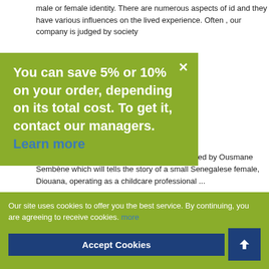male or female identity. There are numerous aspects of id and they have various influences on the lived experience. Often , our company is judged by society
[Figure (screenshot): Green promotional popup overlay with white text: 'You can save 5% or 10% on your order, depending on its total cost. To get it, contact our managers. Learn more' with a close (×) button in the top right corner.]
ck lady in ousmane
Bir His Black Girl (1966) is known as a film aimed by Ousmane Sembène which will tells the story of a small Senegalese female, Diouana, operating as a childcare professional ...
READ MORE ›
Why I would pe...ood f... intended for
[Figure (screenshot): Green cookie consent bar at the bottom with white text: 'Our site uses cookies to offer you the best service. By continuing, you are agreeing to receive cookies. more' with an 'Accept Cookies' blue button and an up-arrow blue button.]